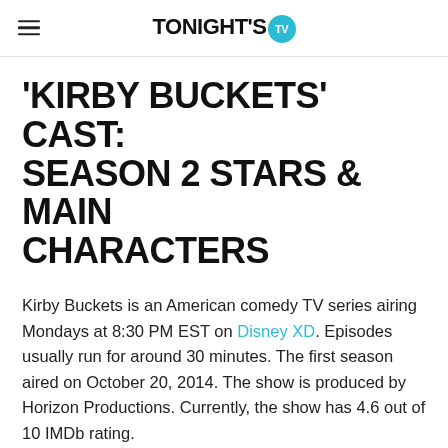TONIGHT'S TV
'KIRBY BUCKETS' CAST: SEASON 2 STARS & MAIN CHARACTERS
Kirby Buckets is an American comedy TV series airing Mondays at 8:30 PM EST on Disney XD. Episodes usually run for around 30 minutes. The first season aired on October 20, 2014. The show is produced by Horizon Productions. Currently, the show has 4.6 out of 10 IMDb rating.
Are you looking for Kirby Buckets cast of season 2? You've come to the right place. We have the latest details and info